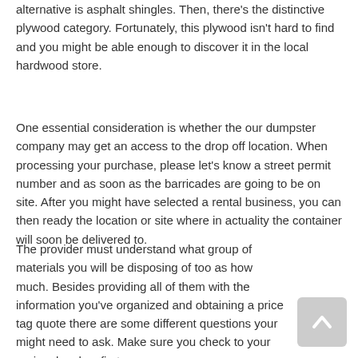alternative is asphalt shingles. Then, there's the distinctive plywood category. Fortunately, this plywood isn't hard to find and you might be able enough to discover it in the local hardwood store.
One essential consideration is whether the our dumpster company may get an access to the drop off location. When processing your purchase, please let's know a street permit number and as soon as the barricades are going to be on site. After you might have selected a rental business, you can then ready the location or site where in actuality the container will soon be delivered to.
The provider must understand what group of materials you will be disposing of too as how much. Besides providing all of them with the information you've organized and obtaining a price tag quote there are some different questions your might need to ask. Make sure you check to your regional codes, first.